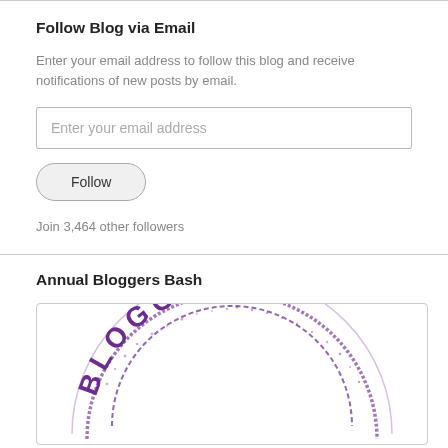Follow Blog via Email
Enter your email address to follow this blog and receive notifications of new posts by email.
Enter your email address
Follow
Join 3,464 other followers
Annual Bloggers Bash
[Figure (logo): Circular stamp-style logo with purple text reading BLOGGERS in an arc]